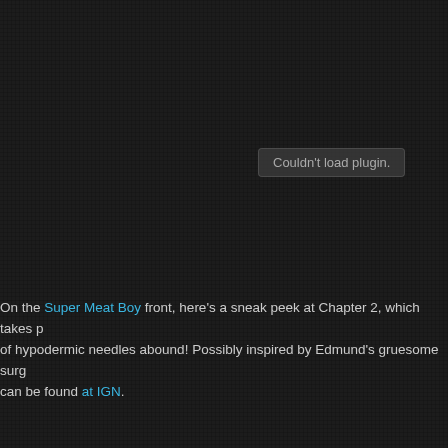[Figure (screenshot): Black/dark background area with a 'Couldn't load plugin.' error message box displayed in the upper right area, representing a failed embedded media plugin.]
On the Super Meat Boy front, here's a sneak peek at Chapter 2, which takes p of hypodermic needles abound! Possibly inspired by Edmund's gruesome surg can be found at IGN.